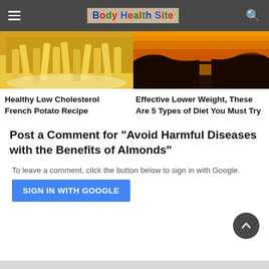Body Health Site
[Figure (photo): Photo of french fries on a red and white plate]
[Figure (photo): Sunset landscape with water reflecting orange sky and dark rocky hills]
Healthy Low Cholesterol French Potato Recipe
Effective Lower Weight, These Are 5 Types of Diet You Must Try
Post a Comment for "Avoid Harmful Diseases with the Benefits of Almonds"
To leave a comment, click the button below to sign in with Google.
SIGN IN WITH GOOGLE